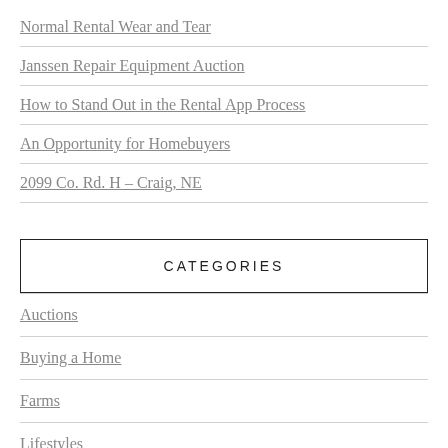Normal Rental Wear and Tear
Janssen Repair Equipment Auction
How to Stand Out in the Rental App Process
An Opportunity for Homebuyers
2099 Co. Rd. H – Craig, NE
CATEGORIES
Auctions
Buying a Home
Farms
Lifestyles